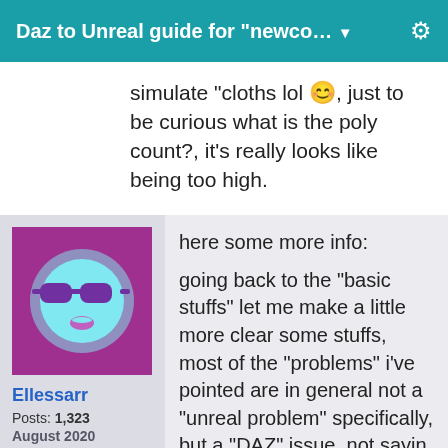Daz to Unreal guide for "newco… ▼
simulate "cloths lol 😊, just to be curious what is the poly count?, it's really looks like being too high.
Ellessarr
Posts: 1,323
August 2020
here some more info:

going back to the "basic stuffs" let me make a little more clear some stuffs, most of the "problems" i've pointed are in general not a "unreal problem" specifically, but a "DAZ" issue, not sayin which daz did something wrong, but more like some of the stuffs